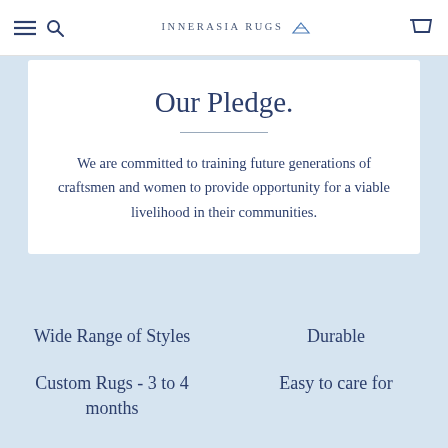INNERASIA RUGS
Our Pledge.
We are committed to training future generations of craftsmen and women to provide opportunity for a viable livelihood in their communities.
Wide Range of Styles
Durable
Custom Rugs - 3 to 4 months
Easy to care for